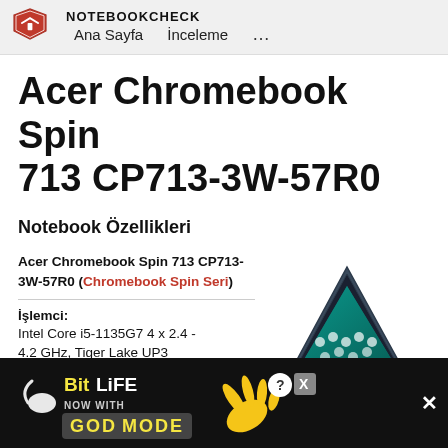NOTEBOOKCHECK — Ana Sayfa  İnceleme  ...
Acer Chromebook Spin 713 CP713-3W-57R0
Notebook Özellikleri
Acer Chromebook Spin 713 CP713-3W-57R0 (Chromebook Spin Seri)
[Figure (photo): Acer Chromebook Spin 713 laptop in tent mode showing the screen with ChromeOS]
İşlemci:
Intel Core i5-1135G7 4 x 2.4 - 4.2 GHz, Tiger Lake UP3
[Figure (other): BitLife advertisement banner — NOW WITH GOD MODE]